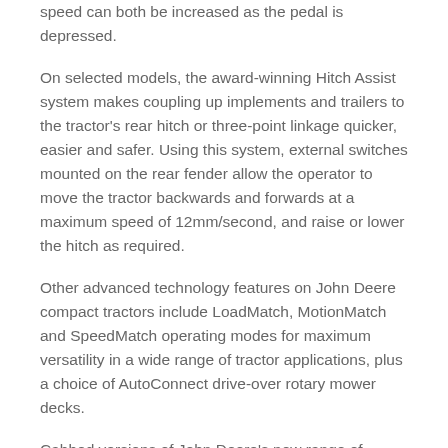speed can both be increased as the pedal is depressed.
On selected models, the award-winning Hitch Assist system makes coupling up implements and trailers to the tractor's rear hitch or three-point linkage quicker, easier and safer. Using this system, external switches mounted on the rear fender allow the operator to move the tractor backwards and forwards at a maximum speed of 12mm/second, and raise or lower the hitch as required.
Other advanced technology features on John Deere compact tractors include LoadMatch, MotionMatch and SpeedMatch operating modes for maximum versatility in a wide range of tractor applications, plus a choice of AutoConnect drive-over rotary mower decks.
Cabbed versions of John Deere's new range of compact tractors for 2020 can be ordered now from